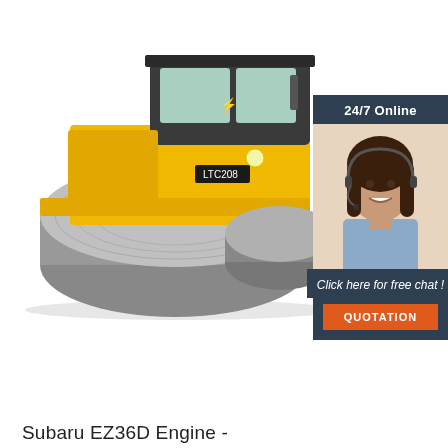[Figure (photo): Yellow road roller / compactor machine (LTC208) on white background — heavy construction equipment with large smooth steel drum and enclosed cab]
[Figure (infographic): Sidebar advertisement panel with dark blue background. Top section shows '24/7 Online' text. Middle section shows a smiling female customer service representative wearing a headset. Bottom section on dark blue shows italic text 'Click here for free chat !' and an orange button labeled 'QUOTATION'.]
Subaru EZ36D Engine -